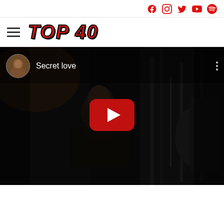Social icons: Facebook, Instagram, Twitter, YouTube, Spotify
TOP 40
[Figure (screenshot): YouTube video embed thumbnail for 'Secret love' — dark moody video still of a person in profile against an industrial background, with a YouTube play button overlay and channel thumbnail in the top left corner.]